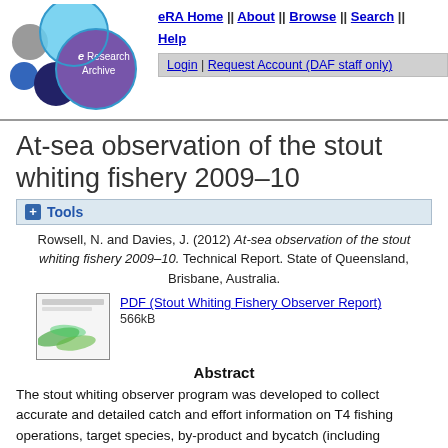[Figure (logo): eResearch Archive logo with colored circles and text]
eRA Home || About || Browse || Search || Help
Login | Request Account (DAF staff only)
At-sea observation of the stout whiting fishery 2009–10
+ Tools
Rowsell, N. and Davies, J. (2012) At-sea observation of the stout whiting fishery 2009–10. Technical Report. State of Queensland, Brisbane, Australia.
[Figure (other): Thumbnail image of PDF document cover for Stout Whiting Fishery Observer Report]
PDF (Stout Whiting Fishery Observer Report)
566kB
Abstract
The stout whiting observer program was developed to collect accurate and detailed catch and effort information on T4 fishing operations, target species, by-product and bycatch (including protected species) in